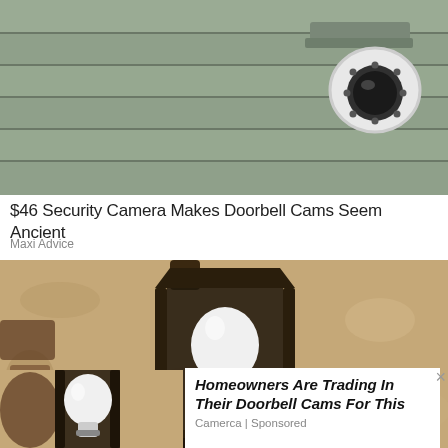[Figure (photo): Security camera mounted on grey house siding — white dome PTZ camera with black lens ring, mounted on horizontal lap siding]
$46 Security Camera Makes Doorbell Cams Seem Ancient
Maxi Advice
[Figure (photo): Outdoor wall lantern with a white bulb-shaped security camera installed inside the black metal lantern fixture, mounted on tan stucco wall]
[Figure (photo): Partial view of outdoor lantern with bulb camera on brick/stucco wall, bottom left corner]
Homeowners Are Trading In Their Doorbell Cams For This
Camerca | Sponsored